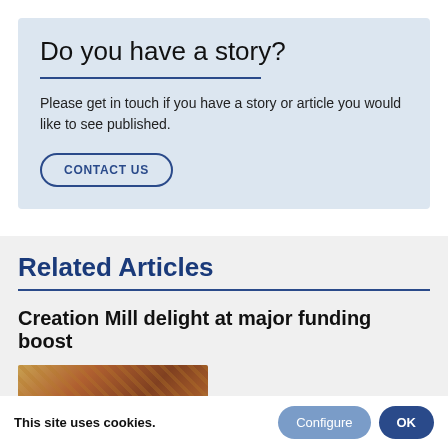Do you have a story?
Please get in touch if you have a story or article you would like to see published.
CONTACT US
Related Articles
Creation Mill delight at major funding boost
[Figure (photo): Photograph thumbnail associated with the article about Creation Mill funding boost]
This site uses cookies.
Configure
OK